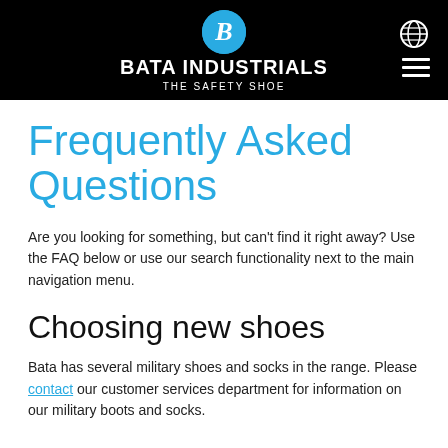BATA INDUSTRIALS THE SAFETY SHOE
Frequently Asked Questions
Are you looking for something, but can't find it right away? Use the FAQ below or use our search functionality next to the main navigation menu.
Choosing new shoes
Bata has several military shoes and socks in the range. Please contact our customer services department for information on our military boots and socks.